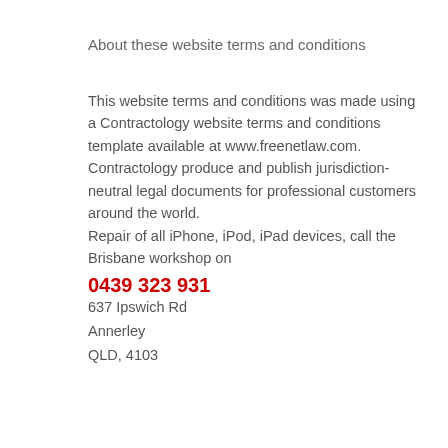About these website terms and conditions
This website terms and conditions was made using a Contractology website terms and conditions template available at www.freenetlaw.com. Contractology produce and publish jurisdiction-neutral legal documents for professional customers around the world.
Repair of all iPhone, iPod, iPad devices, call the Brisbane workshop on
0439 323 931
637 Ipswich Rd
Annerley
QLD, 4103